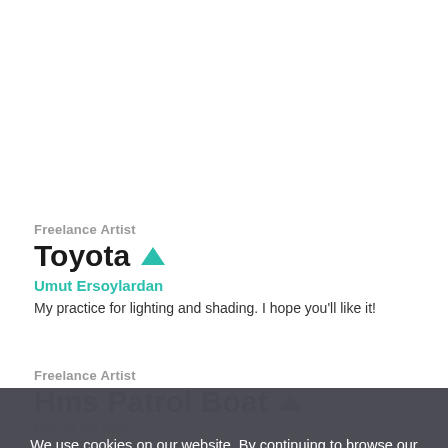Freelance Artist
Toyota
Umut Ersoylardan
My practice for lighting and shading. I hope you'll like it!
Freelance Artist
Hms Patrol Boat
One of my rece...
We use cookies on our website. By continuing to browse our website, you agree to our use of cookies. For more information on how we use cookies please read our privacy policy
Accept